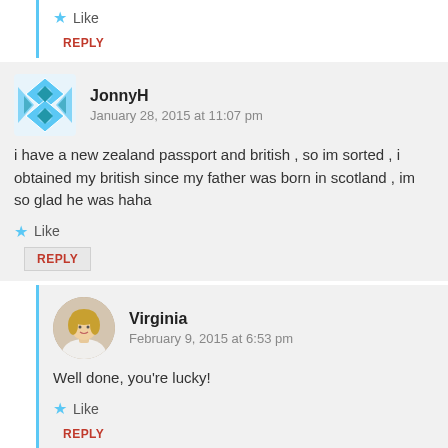Like
REPLY
JonnyH
January 28, 2015 at 11:07 pm
i have a new zealand passport and british , so im sorted , i obtained my british since my father was born in scotland , im so glad he was haha
Like
REPLY
Virginia
February 9, 2015 at 6:53 pm
Well done, you’re lucky!
Like
REPLY